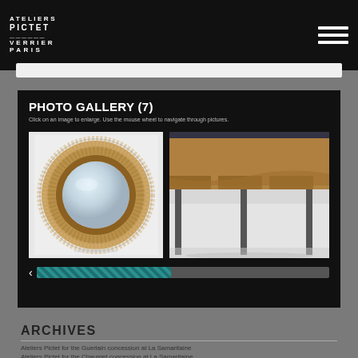ATELIERS PICTET / VERRIER PARIS
PHOTO GALLERY (7)
Click on an image to enlarge. Use the mouse wheel to navigate through pictures.
[Figure (photo): Round decorative mirror with ornate gold/copper mosaic frame on white background]
[Figure (photo): Partial view of a luxury writing desk with tan/gold mosaic surface and dark metal legs on white background]
ARCHIVES
Ateliers Pictet for the Guerlain concession at La Samaritaine
Ateliers Pictet for the Chaumet concession at La Samaritaine
Ateliers Pictet for ...